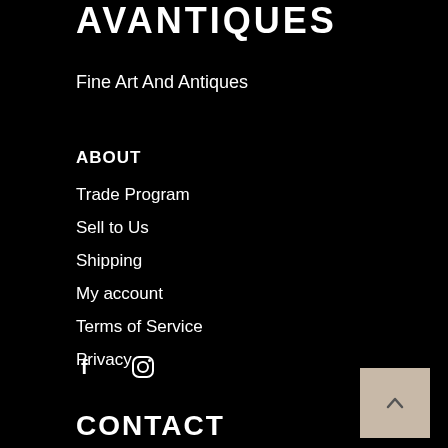AVANTIQUES
Fine Art And Antiques
ABOUT
Trade Program
Sell to Us
Shipping
My account
Terms of Service
Privacy
[Figure (other): Social media icons: Facebook (f) and Instagram (camera icon)]
CONTACT